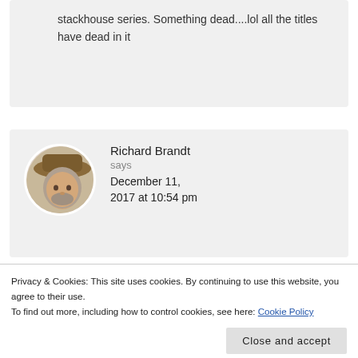stackhouse series. Something dead....lol all the titles have dead in it
Richard Brandt says December 11, 2017 at 10:54 pm
[Figure (photo): Circular avatar photo of Richard Brandt, a man wearing a brown cowboy hat with long gray-streaked hair and a beard.]
Privacy & Cookies: This site uses cookies. By continuing to use this website, you agree to their use.
To find out more, including how to control cookies, see here: Cookie Policy
Close and accept